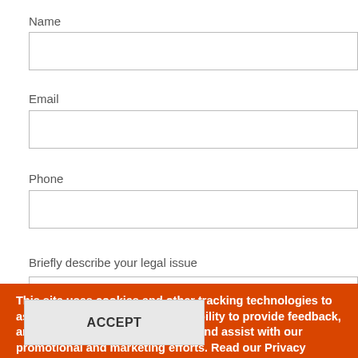Name
Email
Phone
Briefly describe your legal issue
This site uses cookies and other tracking technologies to assist with navigation and your ability to provide feedback, analyze your use of our website, and assist with our promotional and marketing efforts. Read our Privacy Policy for more information.
ACCEPT